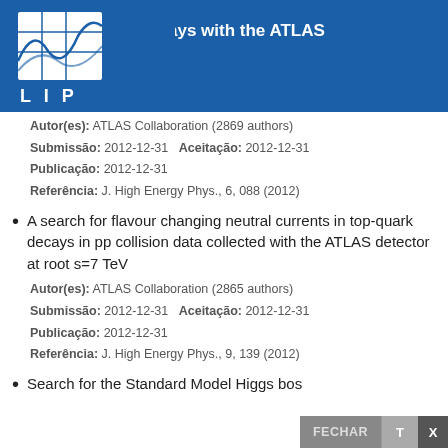ays with the ATLAS
[Figure (logo): LIP logo - blue background with grid/lines graphic and LIP text]
Autor(es): ATLAS Collaboration (2869 authors)
Submissão: 2012-12-31   Aceitação: 2012-12-31
Publicação: 2012-12-31
Referência: J. High Energy Phys., 6, 088 (2012)
A search for flavour changing neutral currents in top-quark decays in pp collision data collected with the ATLAS detector at root s=7 TeV
Autor(es): ATLAS Collaboration (2865 authors)
Submissão: 2012-12-31   Aceitação: 2012-12-31
Publicação: 2012-12-31
Referência: J. High Energy Phys., 9, 139 (2012)
Search for the Standard Model Higgs bos...